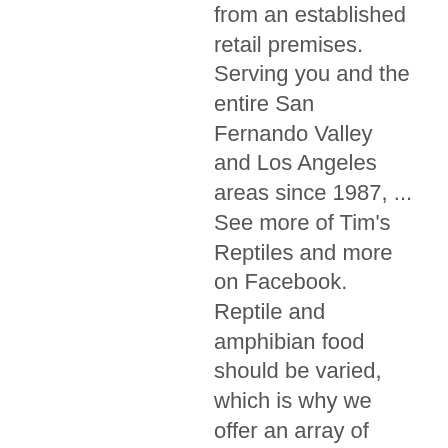from an established retail premises. Serving you and the entire San Fernando Valley and Los Angeles areas since 1987, ... See more of Tim's Reptiles and more on Facebook. Reptile and amphibian food should be varied, which is why we offer an array of feeder insects for sale. Just 5 minutes off the M1 and M18 we have lots of reptiles, amphibians and invertebrates, fish, mammals and birds in store as well as a wide range of starter kits, vivariums, plants, hides, substrates,